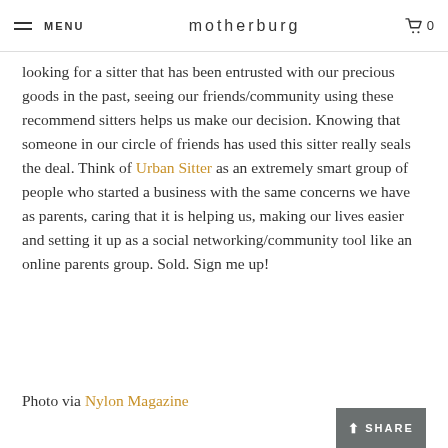MENU  motherburg  0
looking for a sitter that has been entrusted with our precious goods in the past, seeing our friends/community using these recommend sitters helps us make our decision. Knowing that someone in our circle of friends has used this sitter really seals the deal. Think of Urban Sitter as an extremely smart group of people who started a business with the same concerns we have as parents, caring that it is helping us, making our lives easier and setting it up as a social networking/community tool like an online parents group. Sold. Sign me up!
Photo via Nylon Magazine